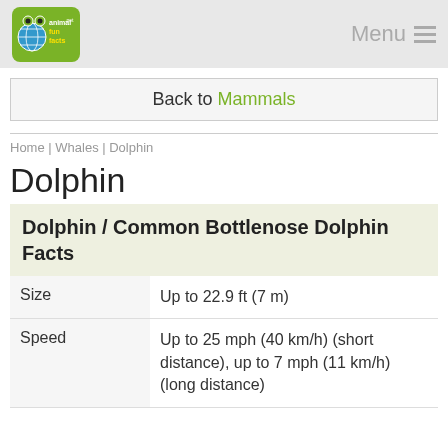animal fun facts .net | Menu
Back to Mammals
Home | Whales | Dolphin
Dolphin
Dolphin / Common Bottlenose Dolphin Facts
|  |  |
| --- | --- |
| Size | Up to 22.9 ft (7 m) |
| Speed | Up to 25 mph (40 km/h) (short distance), up to 7 mph (11 km/h) (long distance) |